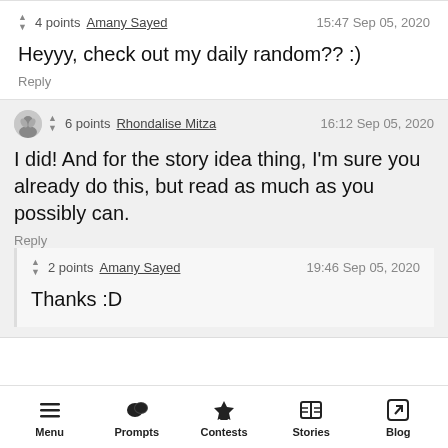▲ ▼ 4 points  Amany Sayed    15:47 Sep 05, 2020
Heyyy, check out my daily random?? :)
Reply
▲ ▼ 6 points  Rhondalise Mitza    16:12 Sep 05, 2020
I did! And for the story idea thing, I'm sure you already do this, but read as much as you possibly can.
Reply
▲ ▼ 2 points  Amany Sayed    19:46 Sep 05, 2020
Thanks :D
Menu  Prompts  Contests  Stories  Blog